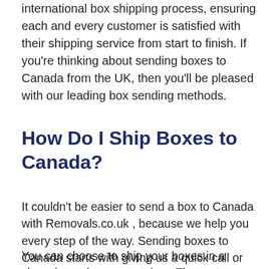international box shipping process, ensuring each and every customer is satisfied with their shipping service from start to finish. If you're thinking about sending boxes to Canada from the UK, then you'll be pleased with our leading box sending methods.
How Do I Ship Boxes to Canada?
It couldn't be easier to send a box to Canada with Removals.co.uk , because we help you every step of the way. Sending boxes to Canada starts with giving us a quick call or email. From there, you will be given a move coordinator to help you with your items and finding the most cost-effective method of shipping.
You can choose to ship your boxes in a shared or sole-use container. The part-load/shared container